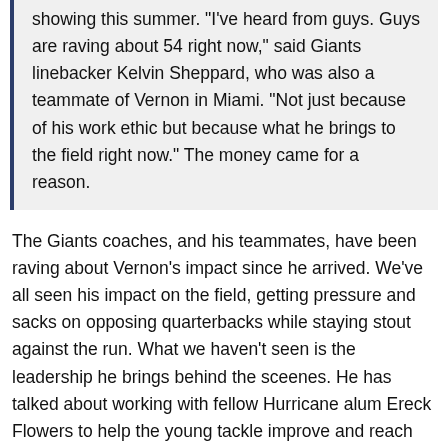showing this summer. "I've heard from guys. Guys are raving about 54 right now," said Giants linebacker Kelvin Sheppard, who was also a teammate of Vernon in Miami. "Not just because of his work ethic but because what he brings to the field right now." The money came for a reason.
The Giants coaches, and his teammates, have been raving about Vernon's impact since he arrived. We've all seen his impact on the field, getting pressure and sacks on opposing quarterbacks while staying stout against the run. What we haven't seen is the leadership he brings behind the sceenes. He has talked about working with fellow Hurricane alum Ereck Flowers to help the young tackle improve and reach his full potential.